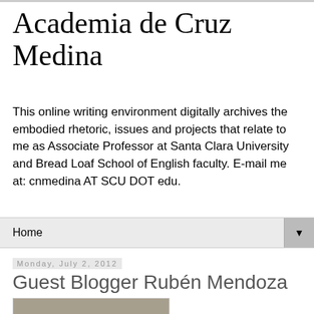Academia de Cruz Medina
This online writing environment digitally archives the embodied rhetoric, issues and projects that relate to me as Associate Professor at Santa Clara University and Bread Loaf School of English faculty. E-mail me at: cnmedina AT SCU DOT edu.
Home
Monday, July 2, 2012
Guest Blogger Rubén Mendoza
[Figure (photo): Photo of a man with glasses and a checked shirt, seated in front of metal shelving or blinds]